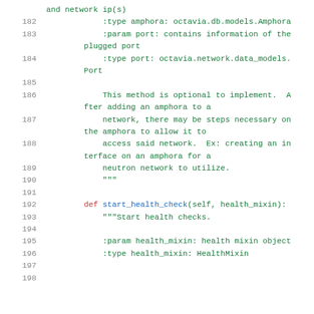Code listing lines 182-197+: Python docstring and method definition for network plug port and start_health_check methods